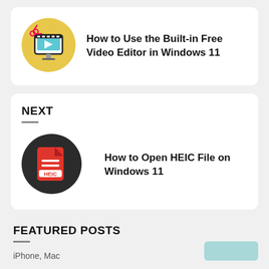[Figure (illustration): Yellow circle with video editor / scissors and film icon]
How to Use the Built-in Free Video Editor in Windows 11
NEXT
[Figure (illustration): Dark circle with red HEIC file icon]
How to Open HEIC File on Windows 11
FEATURED POSTS
iPhone, Mac